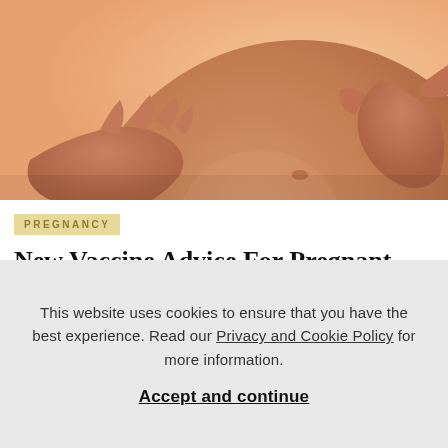[Figure (photo): Close-up photograph of a pregnant woman's bare belly being held by her hands, with a warm peach/orange background]
PREGNANCY
New Vaccine Advice For Pregnant Women
[Figure (photo): Partial view of a second image, appears to show hands on a wooden surface, partially obscured by cookie banner]
This website uses cookies to ensure that you have the best experience. Read our Privacy and Cookie Policy for more information.
Accept and continue